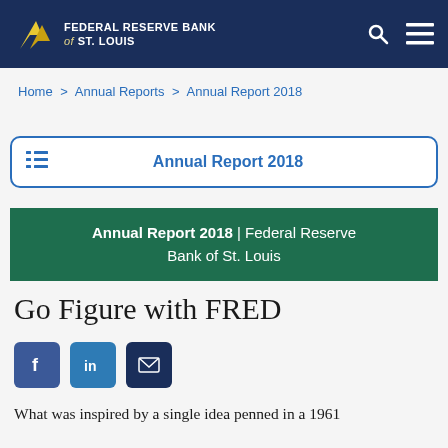FEDERAL RESERVE BANK of ST. LOUIS
Home > Annual Reports > Annual Report 2018
Annual Report 2018
Annual Report 2018 | Federal Reserve Bank of St. Louis
Go Figure with FRED
[Figure (other): Social share buttons: Facebook, LinkedIn, Email]
What was inspired by a single idea penned in a 1961